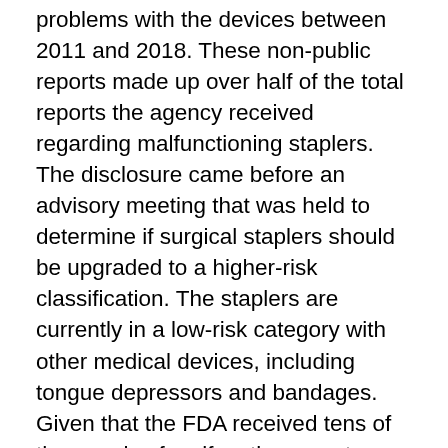problems with the devices between 2011 and 2018. These non-public reports made up over half of the total reports the agency received regarding malfunctioning staplers. The disclosure came before an advisory meeting that was held to determine if surgical staplers should be upgraded to a higher-risk classification. The staplers are currently in a low-risk category with other medical devices, including tongue depressors and bandages. Given that the FDA received tens of thousands of malfunction reports, Jack Mitchell, Director of Health Policy at the National Center for Health Research, wondered why the agency did not reclassify surgical staplers sooner. Surgical staplers are typically used in minimally invasive surgeries to cut and seal tissue and vessels. When they malfunction, they can cause substantial harm to patients, often leading to excessive bleeding or infections. Since 2011, over 400 surgical stapler-related deaths were reported to the FDA's public